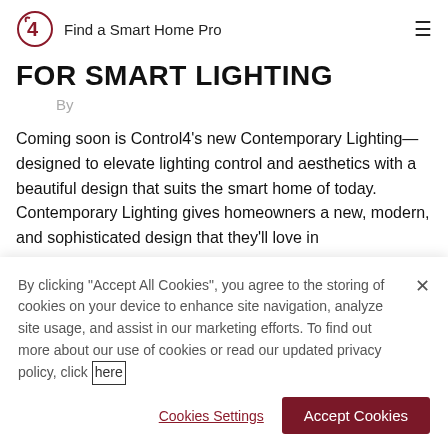Find a Smart Home Pro
FOR SMART LIGHTING
By
Coming soon is Control4's new Contemporary Lighting—designed to elevate lighting control and aesthetics with a beautiful design that suits the smart home of today. Contemporary Lighting gives homeowners a new, modern, and sophisticated design that they'll love in
By clicking "Accept All Cookies", you agree to the storing of cookies on your device to enhance site navigation, analyze site usage, and assist in our marketing efforts. To find out more about our use of cookies or read our updated privacy policy, click here
Cookies Settings
Accept Cookies